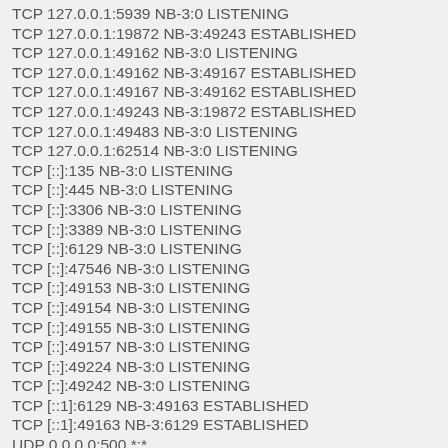TCP 127.0.0.1:5939 NB-3:0 LISTENING
TCP 127.0.0.1:19872 NB-3:49243 ESTABLISHED
TCP 127.0.0.1:49162 NB-3:0 LISTENING
TCP 127.0.0.1:49162 NB-3:49167 ESTABLISHED
TCP 127.0.0.1:49167 NB-3:49162 ESTABLISHED
TCP 127.0.0.1:49243 NB-3:19872 ESTABLISHED
TCP 127.0.0.1:49483 NB-3:0 LISTENING
TCP 127.0.0.1:62514 NB-3:0 LISTENING
TCP [::]:135 NB-3:0 LISTENING
TCP [::]:445 NB-3:0 LISTENING
TCP [::]:3306 NB-3:0 LISTENING
TCP [::]:3389 NB-3:0 LISTENING
TCP [::]:6129 NB-3:0 LISTENING
TCP [::]:47546 NB-3:0 LISTENING
TCP [::]:49153 NB-3:0 LISTENING
TCP [::]:49154 NB-3:0 LISTENING
TCP [::]:49155 NB-3:0 LISTENING
TCP [::]:49157 NB-3:0 LISTENING
TCP [::]:49224 NB-3:0 LISTENING
TCP [::]:49242 NB-3:0 LISTENING
TCP [::1]:6129 NB-3:49163 ESTABLISHED
TCP [::1]:49163 NB-3:6129 ESTABLISHED
UDP 0.0.0.0:500 *:*